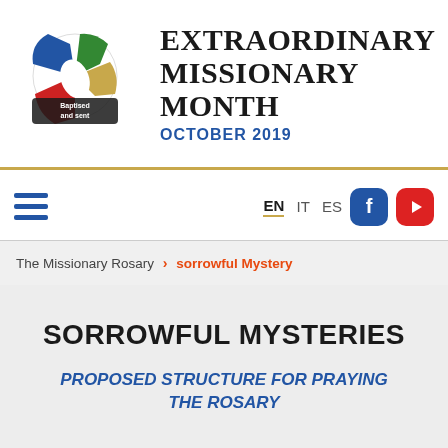[Figure (logo): Extraordinary Missionary Month - Baptised and sent globe logo with colored segments (blue, green, yellow, red, white) and text 'Baptised and sent']
EXTRAORDINARY MISSIONARY MONTH
OCTOBER 2019
[Figure (infographic): Navigation bar with hamburger menu icon (three blue horizontal lines), language selectors EN IT ES, Facebook button (blue rounded square), YouTube button (red rounded square)]
The Missionary Rosary > sorrowful Mystery
SORROWFUL MYSTERIES
PROPOSED STRUCTURE FOR PRAYING THE ROSARY